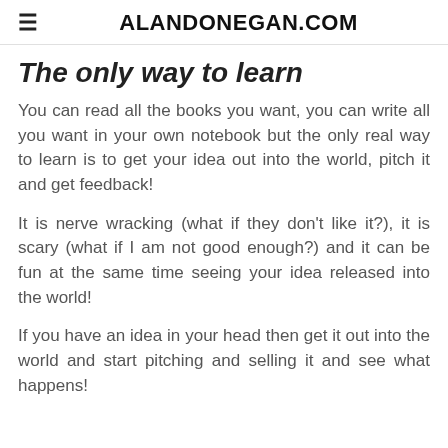ALANDONEGAN.COM
The only way to learn
You can read all the books you want, you can write all you want in your own notebook but the only real way to learn is to get your idea out into the world, pitch it and get feedback!
It is nerve wracking (what if they don't like it?), it is scary (what if I am not good enough?) and it can be fun at the same time seeing your idea released into the world!
If you have an idea in your head then get it out into the world and start pitching and selling it and see what happens!